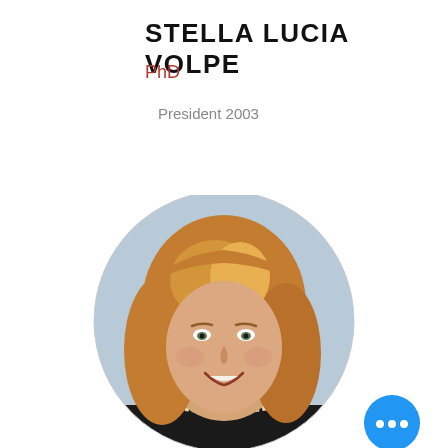STELLA LUCIA VOLPE
PhD
President 2003
[Figure (photo): Circular portrait photo of Stella Lucia Volpe, a woman with shoulder-length auburn/reddish-blonde hair, smiling, wearing a dark blazer and pearl necklace, against a light blue-grey background. A blue circular button with three white dots appears in the lower right of the image area.]